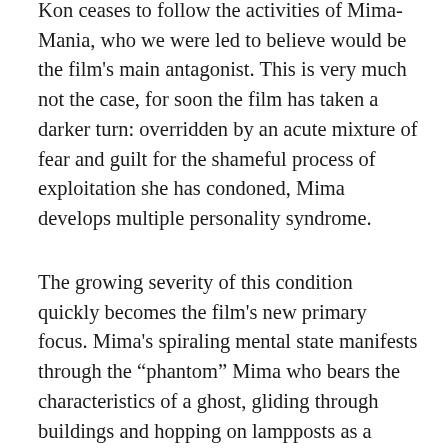Kon ceases to follow the activities of Mima-Mania, who we were led to believe would be the film's main antagonist. This is very much not the case, for soon the film has taken a darker turn: overridden by an acute mixture of fear and guilt for the shameful process of exploitation she has condoned, Mima develops multiple personality syndrome.
The growing severity of this condition quickly becomes the film's new primary focus. Mima's spiraling mental state manifests through the “phantom” Mima who bears the characteristics of a ghost, gliding through buildings and hopping on lampposts as a shiny, transparent entity seen only by Mima, the creator of this